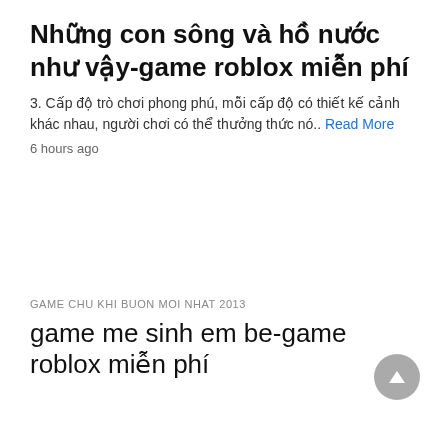Những con sông và hồ nước như vậy-game roblox miễn phí
3. Cấp độ trò chơi phong phú, mỗi cấp độ có thiết kế cảnh khác nhau, người chơi có thể thưởng thức nó.. Read More
6 hours ago
GAME CHU KHI BUON MOI NHAT 2013
game me sinh em be-game roblox miễn phí